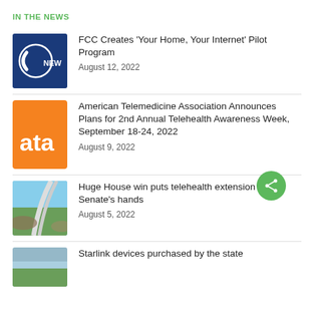IN THE NEWS
[Figure (logo): FCC News logo — dark blue square with FCC circular emblem and 'NEW' text]
FCC Creates ‘Your Home, Your Internet’ Pilot Program
August 12, 2022
[Figure (logo): American Telemedicine Association orange square logo with 'ata' text in white]
American Telemedicine Association Announces Plans for 2nd Annual Telehealth Awareness Week, September 18-24, 2022
August 9, 2022
[Figure (photo): Aerial photo of a winding road through green fields and terrain]
Huge House win puts telehealth extension in Senate’s hands
August 5, 2022
[Figure (photo): Partial thumbnail photo, content partially visible]
Starlink devices purchased by the state